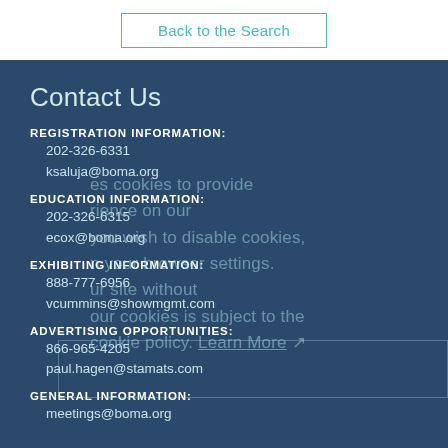Back to the Search
Contact Us
REGISTRATION INFORMATION:
202-326-6331
ksaluja@boma.org
EDUCATION INFORMATION:
202-326-6315
ecox@boma.org
EXHIBITING INFORMATION:
888-777-6956
vcummins@showmgmt.com
ADVERTISING OPPORTUNITIES:
866-965-4205
paul.hagen@stamats.com
GENERAL INFORMATION:
meetings@boma.org